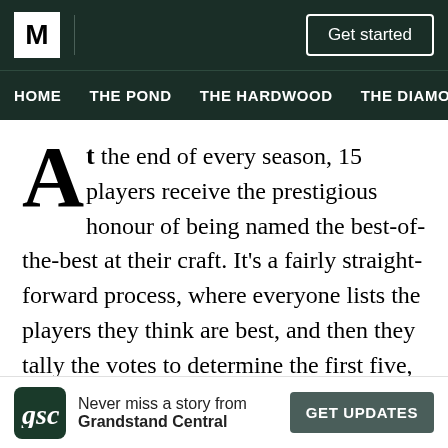M | Get started
HOME  THE POND  THE HARDWOOD  THE DIAMOND
At the end of every season, 15 players receive the prestigious honour of being named the best-of-the-best at their craft. It’s a fairly straight-forward process, where everyone lists the players they think are best, and then they tally the votes to determine the first five, the second five and the third five. That seems kind of boring. So let’s try something different. Let’s draft them instead.
Now, for this draft, we’re still having a positional
Never miss a story from Grandstant Central  GET UPDATES